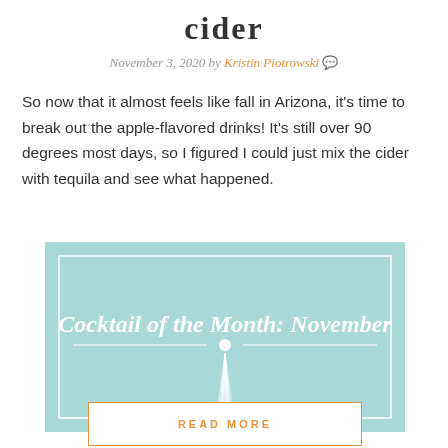cider
November 3, 2020 by Kristin Piotrowski 💬
So now that it almost feels like fall in Arizona, it's time to break out the apple-flavored drinks! It's still over 90 degrees most days, so I figured I could just mix the cider with tequila and see what happened.
[Figure (illustration): A light teal/mint colored card with 'Cocktail of the Month: November' written in white italic script text, with a decorative sunburst/fan design in white below the text, and a white rectangular border inset.]
READ MORE